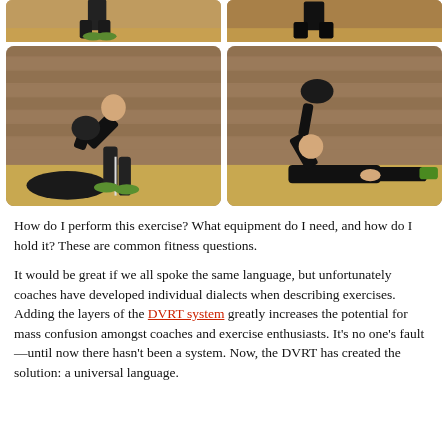[Figure (photo): Top partial row of two exercise photos showing person with sandbag, cropped at top]
[Figure (photo): Bottom left photo: man bending over picking up sandbag/kettlebell from the floor, brick wall background]
[Figure (photo): Bottom right photo: man lying/sitting on floor performing a ground exercise with sandbag overhead, brick wall background]
How do I perform this exercise? What equipment do I need, and how do I hold it? These are common fitness questions.
It would be great if we all spoke the same language, but unfortunately coaches have developed individual dialects when describing exercises. Adding the layers of the DVRT system greatly increases the potential for mass confusion amongst coaches and exercise enthusiasts. It's no one's fault—until now there hasn't been a system. Now, the DVRT has created the solution: a universal language.